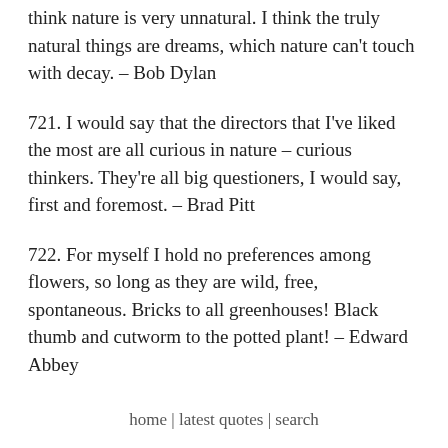think nature is very unnatural. I think the truly natural things are dreams, which nature can't touch with decay. – Bob Dylan
721. I would say that the directors that I've liked the most are all curious in nature – curious thinkers. They're all big questioners, I would say, first and foremost. – Brad Pitt
722. For myself I hold no preferences among flowers, so long as they are wild, free, spontaneous. Bricks to all greenhouses! Black thumb and cutworm to the potted plant! – Edward Abbey
home | latest quotes | search